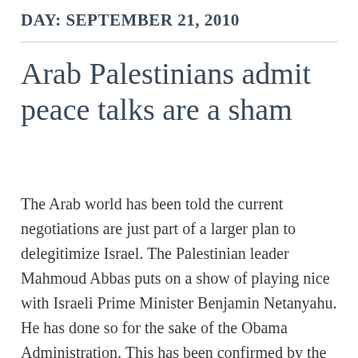DAY: SEPTEMBER 21, 2010
Arab Palestinians admit peace talks are a sham
The Arab world has been told the current negotiations are just part of a larger plan to delegitimize Israel. The Palestinian leader Mahmoud Abbas puts on a show of playing nice with Israeli Prime Minister Benjamin Netanyahu. He has done so for the sake of the Obama Administration. This has been confirmed by the Palestinian…